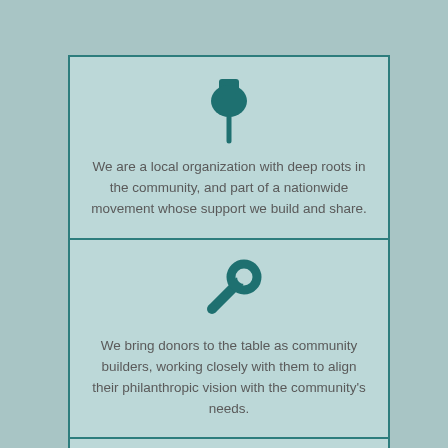[Figure (illustration): Pushpin icon in teal]
We are a local organization with deep roots in the community, and part of a nationwide movement whose support we build and share.
[Figure (illustration): Wrench icon in teal]
We bring donors to the table as community builders, working closely with them to align their philanthropic vision with the community's needs.
[Figure (illustration): Calendar icon in teal]